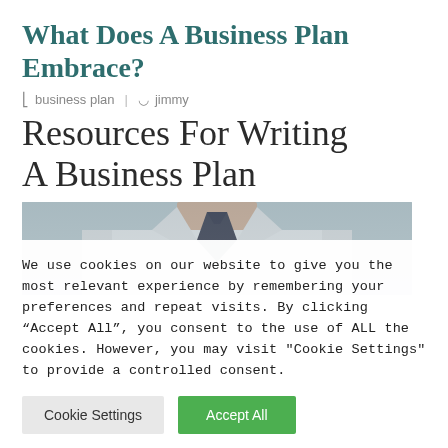What Does A Business Plan Embrace?
business plan | jimmy
Resources For Writing A Business Plan
[Figure (photo): Photo of a man in a white dress shirt and dark tie, cropped to show neck and torso area]
We use cookies on our website to give you the most relevant experience by remembering your preferences and repeat visits. By clicking “Accept All”, you consent to the use of ALL the cookies. However, you may visit "Cookie Settings" to provide a controlled consent.
Cookie Settings | Accept All